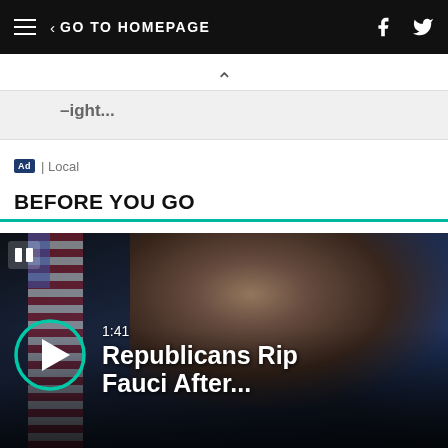GO TO HOMEPAGE
Ad | Local
BEFORE YOU GO
[Figure (screenshot): Video thumbnail showing a man (Dr. Fauci) at a podium with an American flag in the background and blue lighting. A play button is visible at bottom left with duration 1:41 and title 'Republicans Rip Fauci After...']